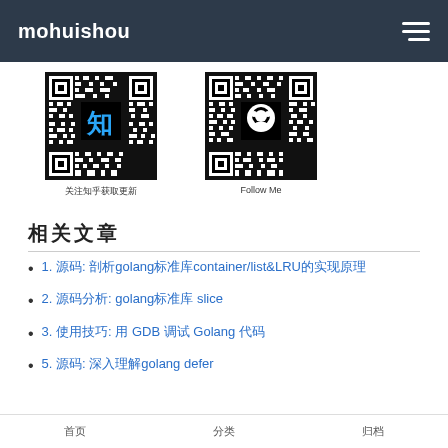mohuishou
[Figure (other): QR code for Zhihu with Chinese character 知 in blue, caption: 关注知乎获取更新]
关注知乎获取更新
[Figure (other): QR code for GitHub with GitHub logo, caption: Follow Me]
Follow Me
相关文章
1. 源码: 剖析golang标准库container/list&LRU的实现原理
2. 源码分析: golang标准库 slice
3. 使用技巧: 用 GDB 调试 Golang 代码
5. 源码: 深入理解golang defer
首页  |  分类  |  归档